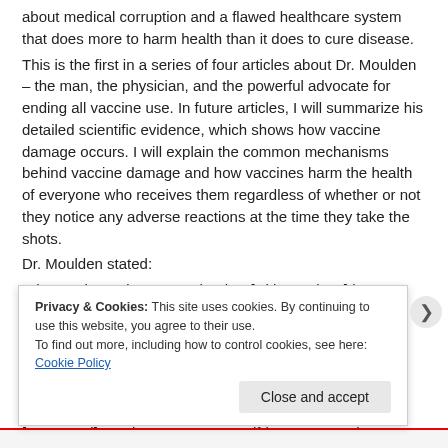about medical corruption and a flawed healthcare system that does more to harm health than it does to cure disease.
This is the first in a series of four articles about Dr. Moulden – the man, the physician, and the powerful advocate for ending all vaccine use. In future articles, I will summarize his detailed scientific evidence, which shows how vaccine damage occurs. I will explain the common mechanisms behind vaccine damage and how vaccines harm the health of everyone who receives them regardless of whether or not they notice any adverse reactions at the time they take the shots.
Dr. Moulden stated:
What we have done to each other [with vaccines] has produced the most profound damage to humankind by humankind in the history of humanity.
And the reason why we got here is partly because of:
Our arrogance in thinking that we know everything. In physiology and medicine we do not know everything!
[Our greed] to advance our own self-interest to make money, to sell
Privacy & Cookies: This site uses cookies. By continuing to use this website, you agree to their use.
To find out more, including how to control cookies, see here: Cookie Policy
Close and accept